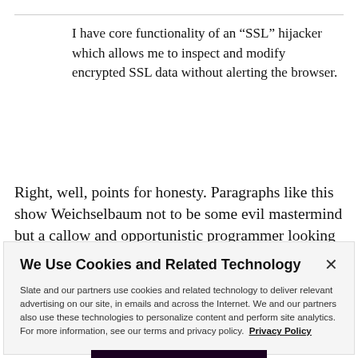I have core functionality of an “SSL” hijacker which allows me to inspect and modify encrypted SSL data without alerting the browser.
Right, well, points for honesty. Paragraphs like this show Weichselbaum not to be some evil mastermind but a callow and opportunistic programmer looking to make a
We Use Cookies and Related Technology
Slate and our partners use cookies and related technology to deliver relevant advertising on our site, in emails and across the Internet. We and our partners also use these technologies to personalize content and perform site analytics. For more information, see our terms and privacy policy. Privacy Policy